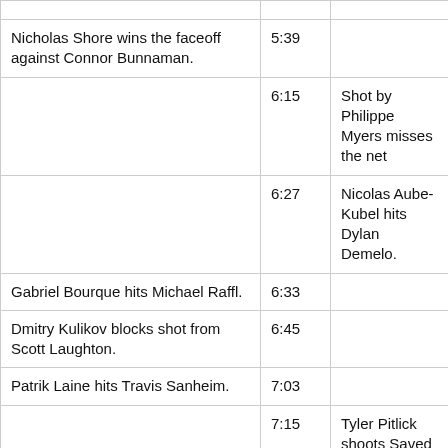|  |  |  |
| Nicholas Shore wins the faceoff against Connor Bunnaman. | 5:39 |  |
|  | 6:15 | Shot by Philippe Myers misses the net |
|  | 6:27 | Nicolas Aube-Kubel hits Dylan Demelo. |
| Gabriel Bourque hits Michael Raffl. | 6:33 |  |
| Dmitry Kulikov blocks shot from Scott Laughton. | 6:45 |  |
| Patrik Laine hits Travis Sanheim. | 7:03 |  |
|  | 7:15 | Tyler Pitlick shoots Saved by Connor Hellebuyck. |
|  |  |  |